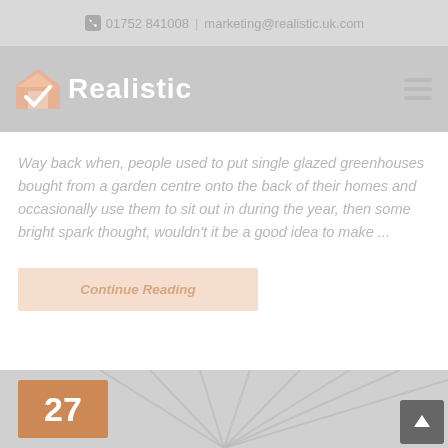01752 841008 | marketing@realistic.uk.com
[Figure (logo): Realistic logo with house/checkmark icon and 'Realistic' wordmark on grey header bar]
Way back when, people used to put single glazed greenhouses bought from a garden centre onto the back of their homes and occasionally use them to sit out in during the year, then some bright spark thought, wouldn't it be a good idea to make ...
Continue Reading
[Figure (photo): Bottom strip showing date badge '27' in orange and a conservatory roof image in the background]